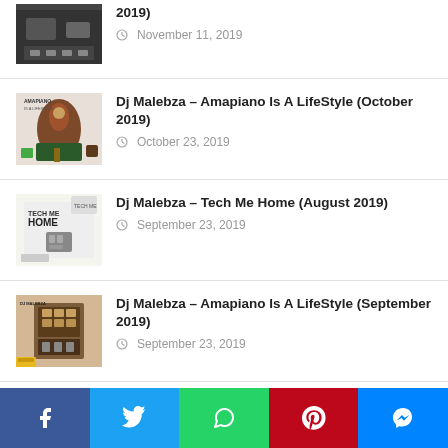2019) — November 11, 2019
Dj Malebza – Amapiano Is A LifeStyle (October 2019) — October 23, 2019
Dj Malebza – Tech Me Home (August 2019) — September 23, 2019
Dj Malebza – Amapiano Is A LifeStyle (September 2019) — September 23, 2019
Dj Malebza – Amapiano Is A LifeStyle (partial)